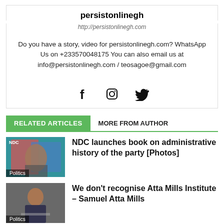persistonlinegh
http://persistonlinegh.com
Do you have a story, video for persistonlinegh.com? WhatsApp Us on +233570048175 You can also email us at info@persistonlinegh.com / teosagoe@gmail.com
[Figure (illustration): Social media icons: Facebook (f), Instagram (circle), Twitter (bird)]
RELATED ARTICLES   MORE FROM AUTHOR
[Figure (photo): NDC event photo with Politics label]
NDC launches book on administrative history of the party [Photos]
[Figure (photo): Man at microphone photo with Politics label]
We don’t recognise Atta Mills Institute – Samuel Atta Mills